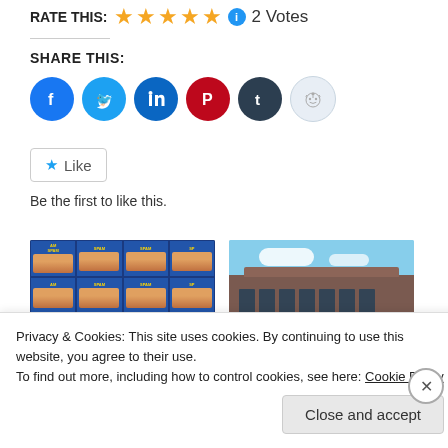RATE THIS: ★★★★★ ℹ 2 Votes
SHARE THIS:
[Figure (other): Social media share icons: Facebook, Twitter, LinkedIn, Pinterest, Tumblr, Reddit]
★ Like
Be the first to like this.
[Figure (photo): Grid of SPAM canned meat products]
[Figure (photo): Exterior of a brick building with blue sky]
Spam Email That Nearly
Dear Malc
Privacy & Cookies: This site uses cookies. By continuing to use this website, you agree to their use.
To find out more, including how to control cookies, see here: Cookie Policy
Close and accept